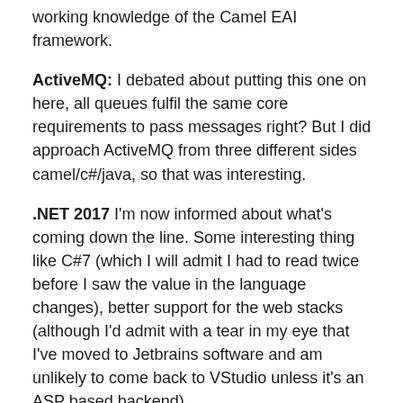working knowledge of the Camel EAI framework.
ActiveMQ: I debated about putting this one on here, all queues fulfil the same core requirements to pass messages right? But I did approach ActiveMQ from three different sides camel/c#/java, so that was interesting.
.NET 2017 I'm now informed about what's coming down the line. Some interesting thing like C#7 (which I will admit I had to read twice before I saw the value in the language changes), better support for the web stacks (although I'd admit with a tear in my eye that I've moved to Jetbrains software and am unlikely to come back to VStudio unless it's an ASP based backend).
Client Products: Not only the development stacks have been changing, products in use by